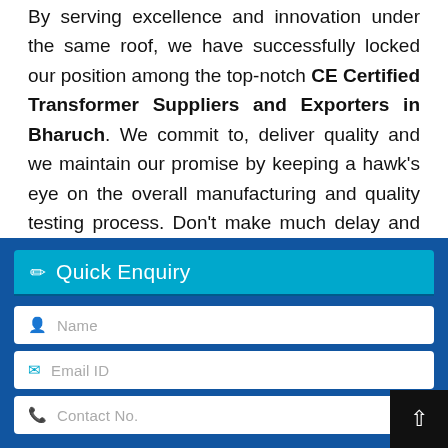By serving excellence and innovation under the same roof, we have successfully locked our position among the top-notch CE Certified Transformer Suppliers and Exporters in Bharuch. We commit to, deliver quality and we maintain our promise by keeping a hawk's eye on the overall manufacturing and quality testing process. Don't make much delay and drop us your enquiry today.
[Figure (screenshot): Quick Enquiry form with dark blue background, teal header bar with pencil icon and text 'Quick Enquiry', and three input fields: Name, Email ID, Contact No.]